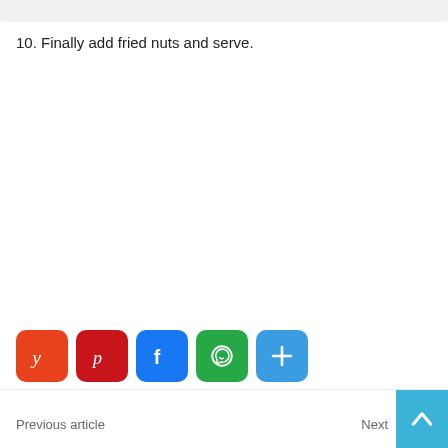10. Finally add fried nuts and serve.
[Figure (infographic): Row of social sharing icon buttons: Yummly (orange), Pinterest (red), Facebook (blue), WhatsApp (green), More/Share (light blue)]
Previous article    Next